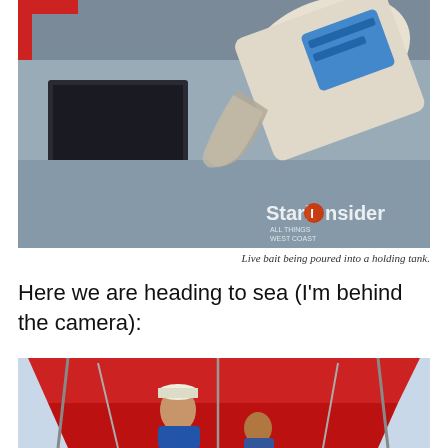[Figure (photo): Close-up photo of live bait being poured from a large white bucket into a holding tank on a boat. The bucket has a blue label. The scene is on a grey boat deck.]
Live bait being poured into a holding tank.
Here we are heading to sea (I'm behind the camera):
[Figure (photo): Photo of a man standing under a red canopy on a boat heading out to sea. He is wearing a cap and blue clothing. Another person is partially visible.]